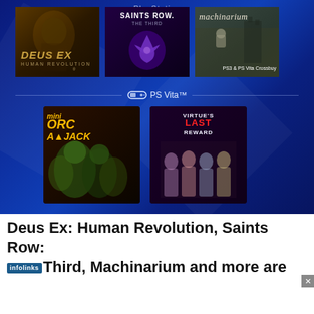[Figure (screenshot): PlayStation Store screenshot showing PS3 games: Deus Ex Human Revolution, Saints Row The Third, Machinarium (with PS3 & PS Vita Crossbuy label), and PS Vita games: Orc Attack, Virtue's Last Reward]
Deus Ex: Human Revolution, Saints Row: The Third, Machinarium and more are
[Figure (photo): Advertisement banner: KISS BORING LIPS GOODBYE - photo of woman with red lips - SHOP NOW - macy's]